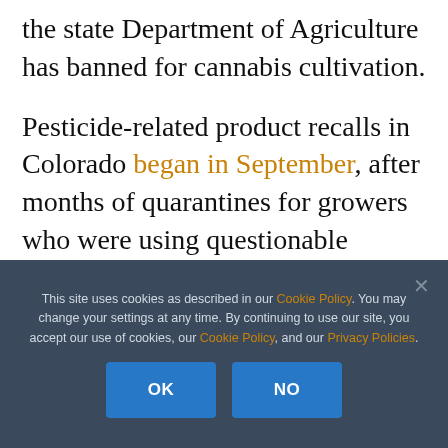the state Department of Agriculture has banned for cannabis cultivation.
Pesticide-related product recalls in Colorado began in September, after months of quarantines for growers who were using questionable pesticides to help combat problems such as powdery mildew.
This site uses cookies as described in our Cookie Policy. You may change your settings at any time. By continuing to use our site, you accept our use of cookies, our Cookie Policy, and our Privacy Policies.